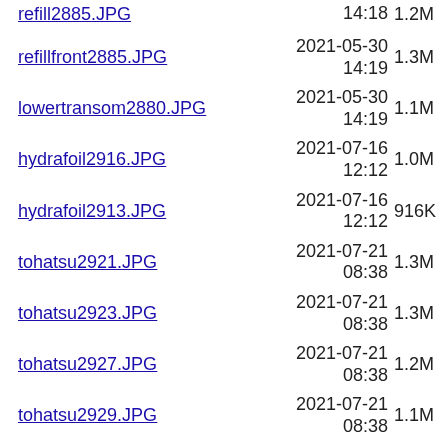refillfront2885.JPG  2021-05-30 14:19  1.3M
lowertransom2880.JPG  2021-05-30 14:19  1.1M
hydrafoil2916.JPG  2021-07-16 12:12  1.0M
hydrafoil2913.JPG  2021-07-16 12:12  916K
tohatsu2921.JPG  2021-07-21 08:38  1.3M
tohatsu2923.JPG  2021-07-21 08:38  1.3M
tohatsu2927.JPG  2021-07-21 08:38  1.2M
tohatsu2929.JPG  2021-07-21 08:38  1.1M
thames2931.JPG  2021-07-21 08:38  1.2M
dockroad2946c.JPG  2021-07-22 17:18  942K
dockroad2946d.JPG  2021-07-22 17:18  913K